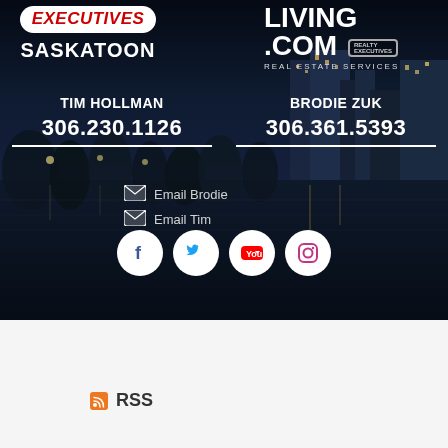[Figure (photo): Night cityscape of Saskatoon with river reflection, dark blue tones, used as banner background]
EXECUTIVES SASKATOON (Realty Executives logo)
LIVING.COM REAL ESTATE SERVICES
TIM HOLLMAN
306.230.1126
BRODIE ZUK
306.361.5393
Email Brodie
Email Tim
[Figure (infographic): Four social media icons in white circles: Facebook, Twitter, YouTube, Instagram]
RSS